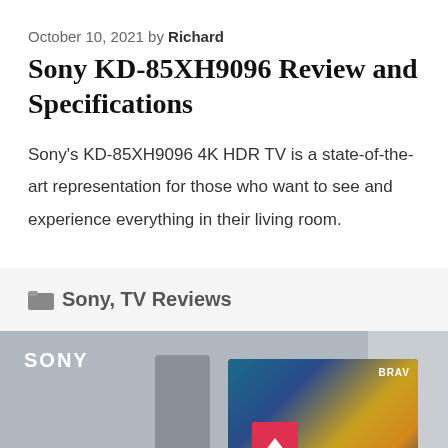October 10, 2021 by Richard
Sony KD-85XH9096 Review and Specifications
Sony's KD-85XH9096 4K HDR TV is a state-of-the-art representation for those who want to see and experience everything in their living room.
Sony, TV Reviews
[Figure (photo): Sony TV product image showing the Sony Bravia KD-85XH9096 television with SONY logo, TV stand, and a colorful display screen. A red back-to-top button is visible.]